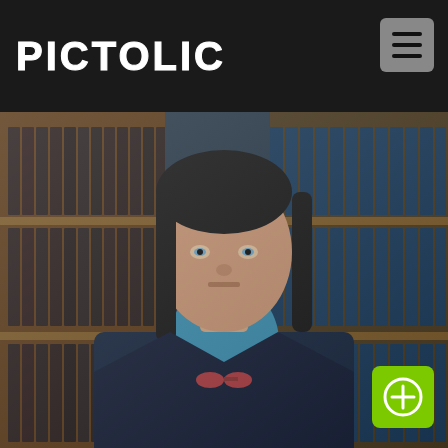PICTOLIC
[Figure (photo): A man with dark shoulder-length hair wearing a dark navy blazer over a teal/blue checkered shirt with sunglasses hanging from the collar. He stands in front of wooden bookshelves filled with dark-bound volumes. His expression is serious and intense.]
[Figure (other): Green rounded-rectangle button with a white circle-plus icon in the bottom-right corner of the page.]